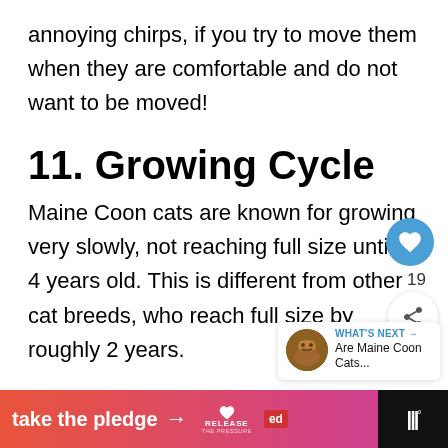annoying chirps, if you try to move them when they are comfortable and do not want to be moved!
11. Growing Cycle
Maine Coon cats are known for growing very slowly, not reaching full size until 3-4 years old. This is different from other cat breeds, who reach full size by roughly 2 years.
[Figure (infographic): What's Next widget showing a thumbnail of a Maine Coon cat with text 'WHAT'S NEXT → Are Maine Coon Cats...']
[Figure (infographic): Bottom ad banner: 'take the pledge →' with RELEASE heart logo, ED logo, and Tidal logo on black background]